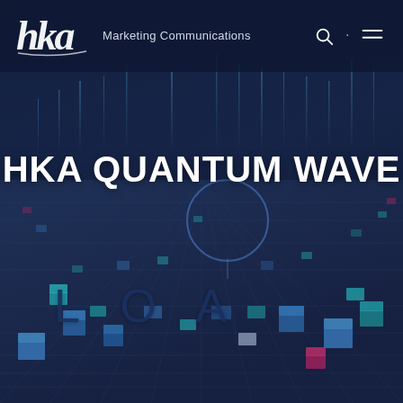[Figure (screenshot): HKA Marketing Communications website header screenshot showing a dark blue tech/circuit board background with glowing blue cubes and data streams. Contains the HKA logo, navigation icons, the title HKA QUANTUM WAVE, and the text LOA overlaid on the background.]
HKA Marketing Communications
HKA QUANTUM WAVE
LOA